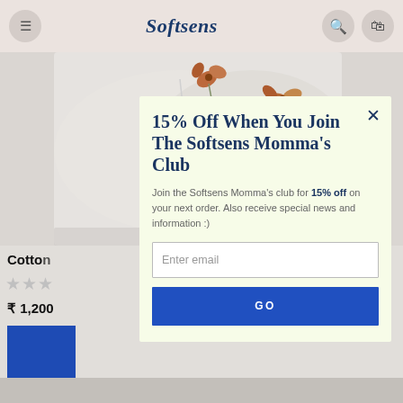Softsens
[Figure (photo): Product image showing folded white cotton fabric with floral print design featuring orange flowers and botanical elements]
Cotton
₹ 1,200
15% Off When You Join The Softsens Momma's Club
Join the Softsens Momma's club for 15% off on your next order. Also receive special news and information :)
Enter email
GO